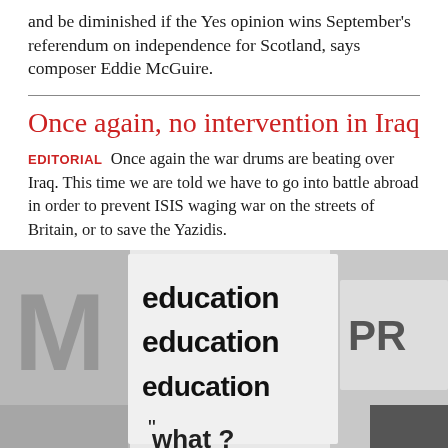and be diminished if the Yes opinion wins September’s referendum on independence for Scotland, says composer Eddie McGuire.
Once again, no intervention in Iraq
EDITORIAL Once again the war drums are beating over Iraq. This time we are told we have to go into battle abroad in order to prevent ISIS waging war on the streets of Britain, or to save the Yazidis.
[Figure (photo): Black and white photo of protest signs reading 'education education education' repeatedly, with partial letters visible on other signs.]